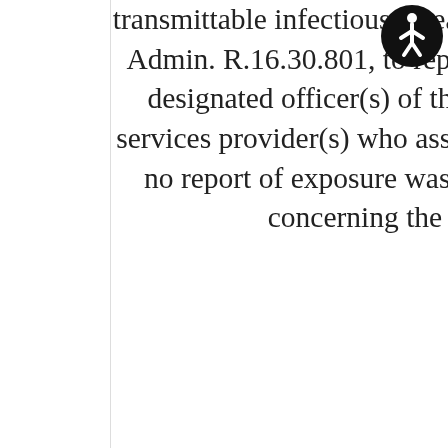transmittable infectious diseases designated in Mont. Admin. R.16.30.801, to report that fact back to the designated officer(s) of the emergency medical services provider(s) who assisted the patient, even if no report of exposure was filed with the facility concerning the transported
[Figure (other): Accessibility icon (wheelchair/person figure in black circle)]